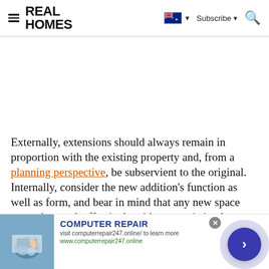REAL HOMES — navigation bar with hamburger menu, logo, Australian flag dropdown, Subscribe button, and search icon
[Figure (other): Blank white advertisement placeholder space]
Externally, extensions should always remain in proportion with the existing property and, from a planning perspective, be subservient to the original. Internally, consider the new addition's function as well as form, and bear in mind that any new space must also work effectively with your existing layout, in terms of access, flow and light levels in the rooms beyond. Consult with an architect or designer
[Figure (screenshot): Bottom advertisement banner for COMPUTER REPAIR — 'visit computerrepair247.online/ to learn more, www.computerrepair247.online' with a thumbnail image of hands on a laptop and a blue circular arrow button]